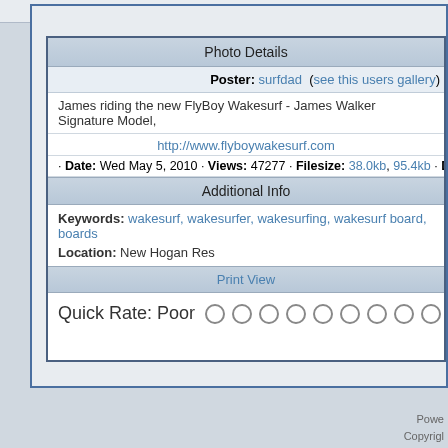Click on image to view larger image
Photo Details
Poster: surfdad  (see this users gallery)
James riding the new FlyBoy Wakesurf - James Walker Signature Model,
http://www.flyboywakesurf.com
· Date: Wed May 5, 2010 · Views: 47277 · Filesize: 38.0kb, 95.4kb · Dime
Additional Info
Keywords: wakesurf, wakesurfer, wakesurfing, wakesurf board, boards
Location: New Hogan Res
Print View
Quick Rate: Poor
Powe
Copyrigl